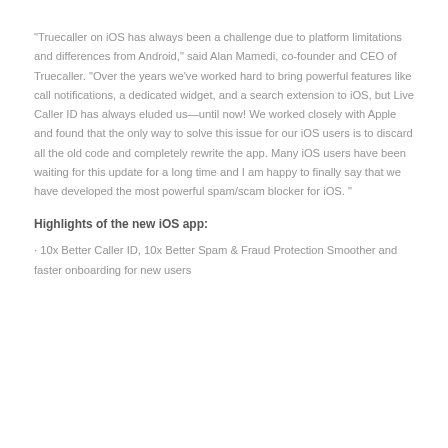"Truecaller on iOS has always been a challenge due to platform limitations and differences from Android," said Alan Mamedi, co-founder and CEO of Truecaller. "Over the years we've worked hard to bring powerful features like call notifications, a dedicated widget, and a search extension to iOS, but Live Caller ID has always eluded us—until now! We worked closely with Apple and found that the only way to solve this issue for our iOS users is to discard all the old code and completely rewrite the app. Many iOS users have been waiting for this update for a long time and I am happy to finally say that we have developed the most powerful spam/scam blocker for iOS. "
Highlights of the new iOS app:
· 10x Better Caller ID, 10x Better Spam & Fraud Protection Smoother and faster onboarding for new users